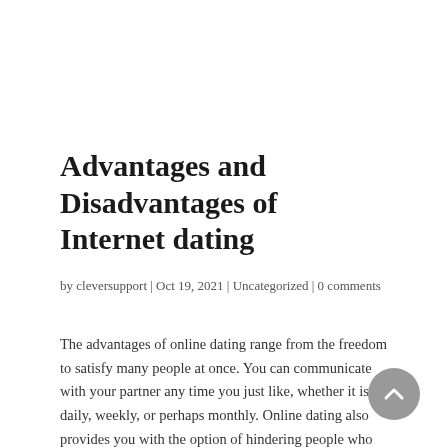Advantages and Disadvantages of Internet dating
by cleversupport | Oct 19, 2021 | Uncategorized | 0 comments
The advantages of online dating range from the freedom to satisfy many people at once. You can communicate with your partner any time you just like, whether it is daily, weekly, or perhaps monthly. Online dating also provides you with the option of hindering people who